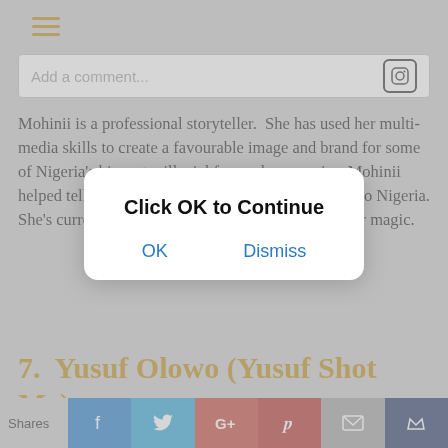≡
Add a comment...
Mohinii is a professional storyteller. She has used her multi-media skills to create a favourable image and brand for some of Nigeria's biggest millenial focused companies. Mohinii helped tell the story of Andela during its expansion to Nigeria. She's currently at payments giant Paystack doing her magic.
[Figure (screenshot): Modal dialog with text 'Click OK to Continue' and two buttons: OK and Dismiss]
7. Yusuf Olowo (Yusuf Shot Me)
[Figure (photo): Image placeholder at bottom]
Shares | Facebook | Twitter | Google+ | Pinterest | Mail | Crown/Flipboard